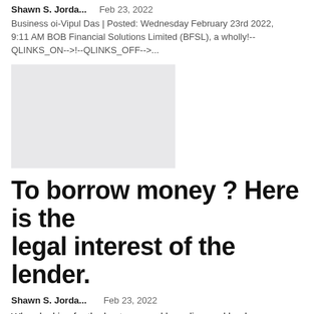Shawn S. Jorda...    Feb 23, 2022
Business oi-Vipul Das | Posted: Wednesday February 23rd 2022, 9:11 AM BOB Financial Solutions Limited (BFSL), a wholly!--QLINKS_ON-->!--QLINKS_OFF-->...
[Figure (other): Gray placeholder image block]
To borrow money ? Here is the legal interest of the lender.
Shawn S. Jorda...    Feb 23, 2022
When looking for the best personal loan, licensed lenders are a good alternative to banks. Fast, easy and convenient, approved lenders speed up the process, turning what could take weeks into